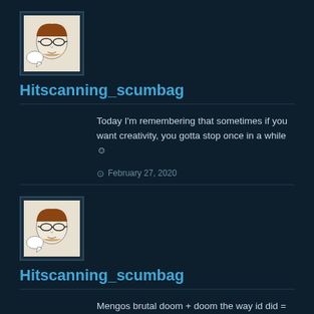[Figure (illustration): User avatar showing cartoon face with glasses and speech bubble]
Hitscanning_scumbag
Today I'm remembering that sometimes if you want creativity, you gotta stop once in a while ☺
February 27, 2020
[Figure (illustration): User avatar showing cartoon face with glasses and speech bubble]
Hitscanning_scumbag
Mengos brutal doom + doom the way id did = one memorable evening for me. God I had fun.
February 26, 2020
[Figure (illustration): Partial user avatar at bottom of page]